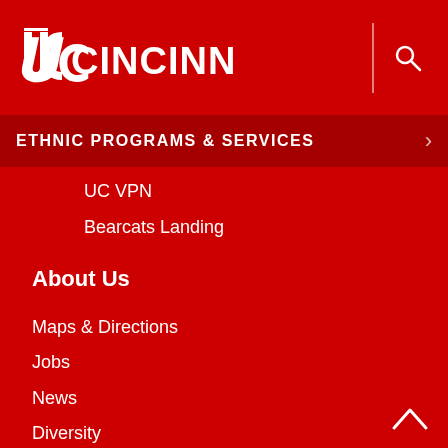UC Cincinnati
ETHNIC PROGRAMS & SERVICES
UC VPN
Bearcats Landing
About Us
Maps & Directions
Jobs
News
Diversity
Governance & Policies
Directory
Events Calendar